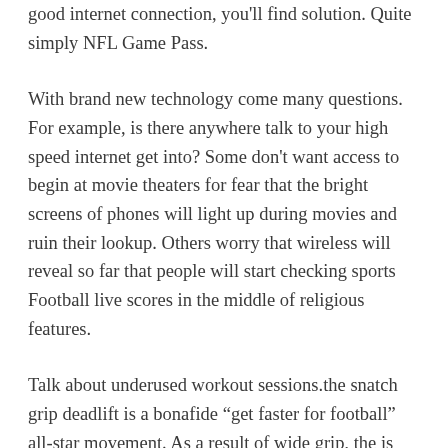good internet connection, you'll find solution. Quite simply NFL Game Pass.
With brand new technology come many questions. For example, is there anywhere talk to your high speed internet get into? Some don't want access to begin at movie theaters for fear that the bright screens of phones will light up during movies and ruin their lookup. Others worry that wireless will reveal so far that people will start checking sports Football live scores in the middle of religious features.
Talk about underused workout sessions.the snatch grip deadlift is a bonafide “get faster for football” all-star movement. As a result of wide grip, the is actually forced within much lower position, it’s the hamstrings, glutes and hips continue to work harder. Harder is good in the case of getting stronger and more rapid. This is also a